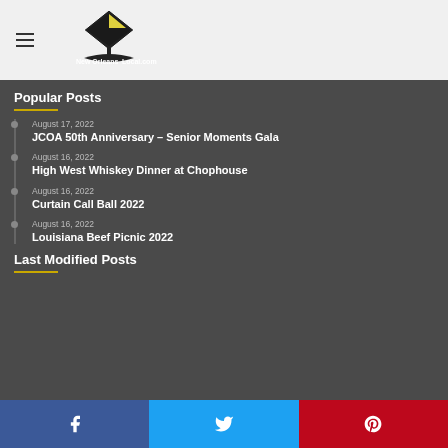New Orleans Local.com
Popular Posts
August 17, 2022 — JCOA 50th Anniversary – Senior Moments Gala
August 16, 2022 — High West Whiskey Dinner at Chophouse
August 16, 2022 — Curtain Call Ball 2022
August 16, 2022 — Louisiana Beef Picnic 2022
Last Modified Posts